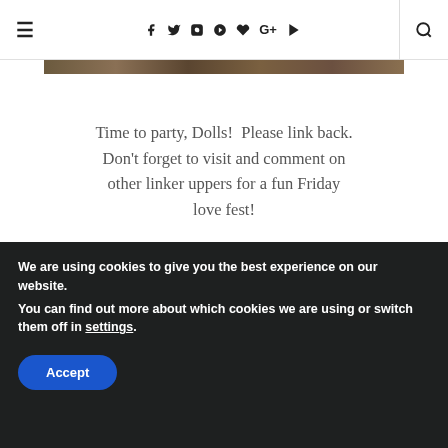≡ f 𝕥 ⊙ 𝗣 ♥ G+ ▶ 🔍
[Figure (photo): Partial photo strip visible at top of page]
Time to party, Dolls!  Please link back. Don't forget to visit and comment on other linker uppers for a fun Friday love fest!
OXOX
We are using cookies to give you the best experience on our website.
You can find out more about which cookies we are using or switch them off in settings.
Accept